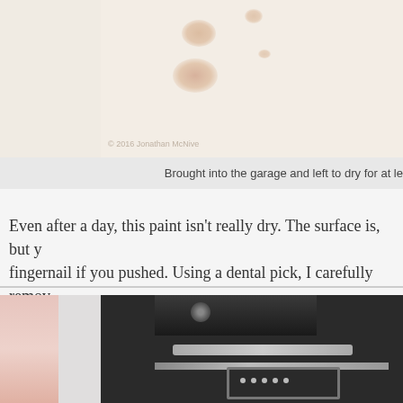[Figure (photo): Close-up photo of a beige/cream surface with rust or paint stain spots. A watermark reads '© 2016 Jonathan McNive' in the lower left corner of the image area.]
Brought into the garage and left to dry for at le
Even after a day, this paint isn't really dry.  The surface is, but y fingernail if you pushed.  Using a dental pick, I carefully remov
[Figure (photo): Close-up photo of a black metal camera or typewriter mechanism with metallic bolts, a dental pick tool being used on it, and some blurred pink/red background on the left side.]